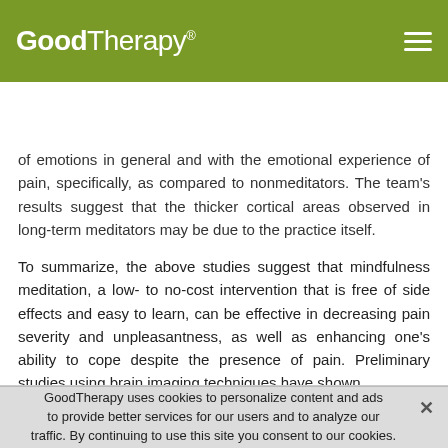GoodTherapy®
[Figure (screenshot): GoodTherapy website header with logo, hamburger menu, and Find a Therapist search bar with ZIP or City input and orange search button]
of emotions in general and with the emotional experience of pain, specifically, as compared to nonmeditators. The team's results suggest that the thicker cortical areas observed in long-term meditators may be due to the practice itself.
To summarize, the above studies suggest that mindfulness meditation, a low- to no-cost intervention that is free of side effects and easy to learn, can be effective in decreasing pain severity and unpleasantness, as well as enhancing one's ability to cope despite the presence of pain. Preliminary studies using brain imaging techniques have shown
GoodTherapy uses cookies to personalize content and ads to provide better services for our users and to analyze our traffic. By continuing to use this site you consent to our cookies.